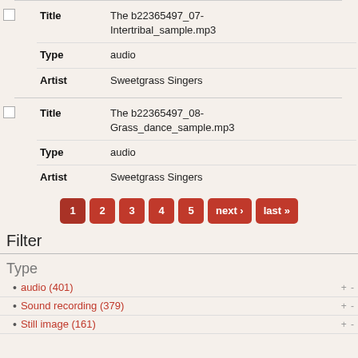| Field | Value |
| --- | --- |
| Title | The b22365497_07-Intertribal_sample.mp3 |
| Type | audio |
| Artist | Sweetgrass Singers |
| Field | Value |
| --- | --- |
| Title | The b22365497_08-Grass_dance_sample.mp3 |
| Type | audio |
| Artist | Sweetgrass Singers |
1 2 3 4 5 next › last »
Filter
Type
audio (401)
Sound recording (379)
Still image (161)